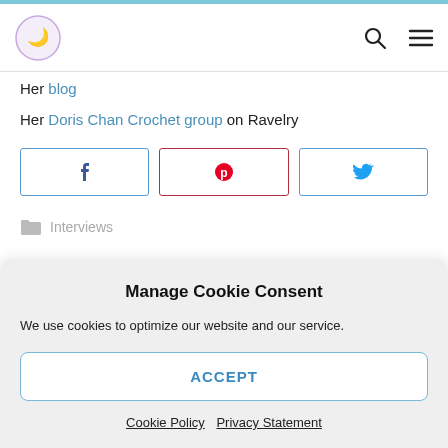Site header with logo and navigation icons
Her blog
Her Doris Chan Crochet group on Ravelry
[Figure (other): Social sharing buttons: Facebook, Pinterest, Twitter]
Interviews
Manage Cookie Consent
We use cookies to optimize our website and our service.
ACCEPT
Cookie Policy  Privacy Statement